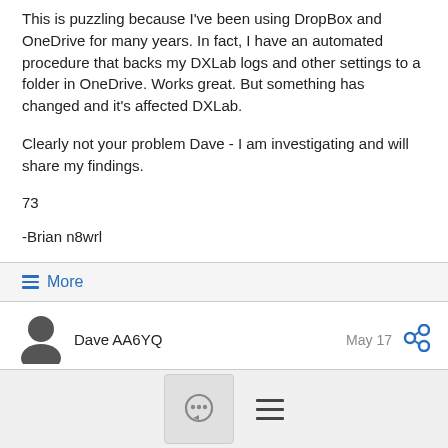This is puzzling because I've been using DropBox and OneDrive for many years. In fact, I have an automated procedure that backs my DXLab logs and other settings to a folder in OneDrive. Works great. But something has changed and it's affected DXLab.
Clearly not your problem Dave - I am investigating and will share my findings.
73
-Brian n8wrl
≡ More
Dave AA6YQ
May 17
+ AA6YQ comments below